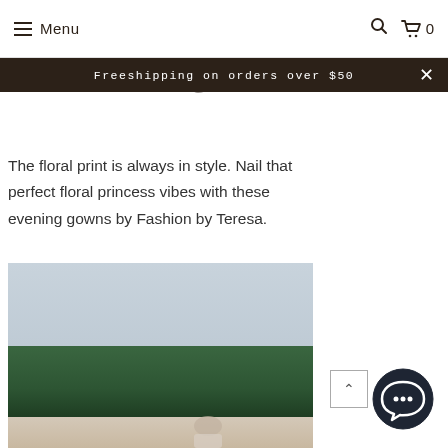Menu | Search | Cart 0
Freeshipping on orders over $50
Floral E...
The floral print is always in style. Nail that perfect floral princess vibes with these evening gowns by Fashion by Teresa.
[Figure (photo): Outdoor photo of a woman in a light-colored gown, bowing her head, with green trees and a light gray sky in the background.]